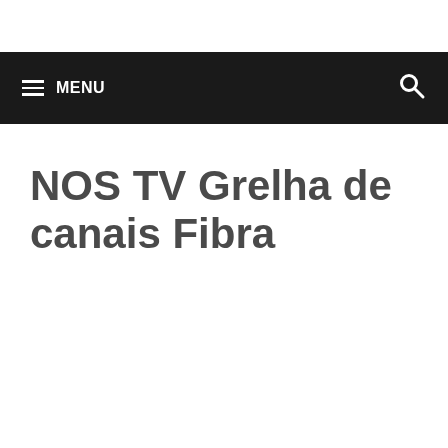≡ MENU
NOS TV Grelha de canais Fibra